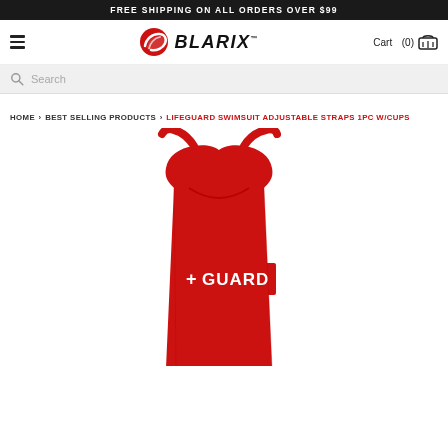FREE SHIPPING ON ALL ORDERS OVER $99
[Figure (logo): Blarix brand logo with red swirl icon and bold italic BLARIX text]
Cart (0)
Search
HOME > BEST SELLING PRODUCTS > LIFEGUARD SWIMSUIT ADJUSTABLE STRAPS 1PC W/CUPS
[Figure (photo): Red lifeguard one-piece swimsuit with adjustable straps and white +GUARD text on the front, displayed on an invisible mannequin against a white background]